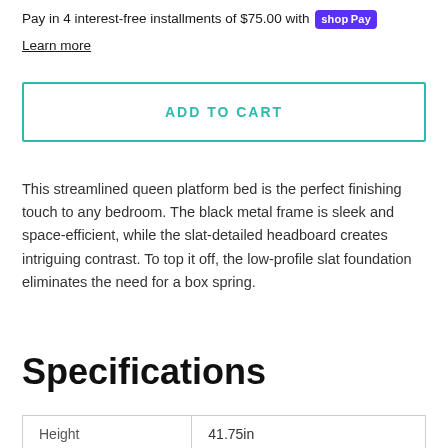Pay in 4 interest-free installments of $75.00 with shop Pay
Learn more
ADD TO CART
This streamlined queen platform bed is the perfect finishing touch to any bedroom. The black metal frame is sleek and space-efficient, while the slat-detailed headboard creates intriguing contrast. To top it off, the low-profile slat foundation eliminates the need for a box spring.
Specifications
| Height | 41.75in |
| --- | --- |